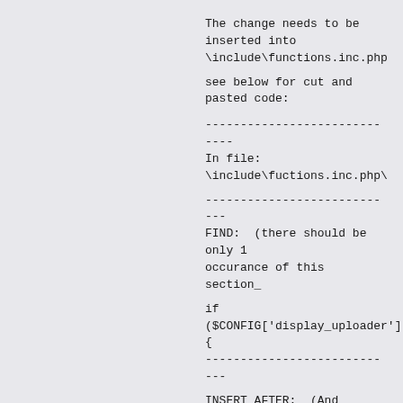The change needs to be inserted into \include\functions.inc.php
see below for cut and pasted code:
-----------------------------
In file:  \include\fuctions.inc.php\
----------------------------
FIND:  (there should be only 1 occurance of this section_
if ($CONFIG['display_uploader']){
----------------------------
INSERT AFTER:  (And before the closing "}"  )
//set variable and round full filesize to no decimals
        $caption .=  '<span class="thumb_title">'.".filesize: ".round($rowset[$key]['filesize']/ 1024)." KB".